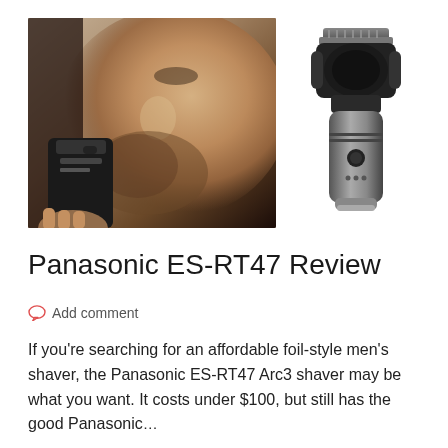[Figure (photo): Left: close-up photo of a man shaving his beard with a black electric shaver. Right: product photo of the Panasonic ES-RT47 electric shaver (black and silver foil shaver).]
Panasonic ES-RT47 Review
Add comment
If you're searching for an affordable foil-style men's shaver, the Panasonic ES-RT47 Arc3 shaver may be what you want. It costs under $100, but still has the good Panasonic…